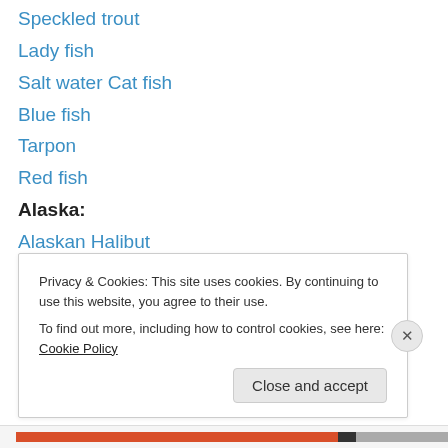Speckled trout
Lady fish
Salt water Cat fish
Blue fish
Tarpon
Red fish
Alaska:
Alaskan Halibut
Ling Cod
Privacy & Cookies: This site uses cookies. By continuing to use this website, you agree to their use.
To find out more, including how to control cookies, see here: Cookie Policy
Close and accept